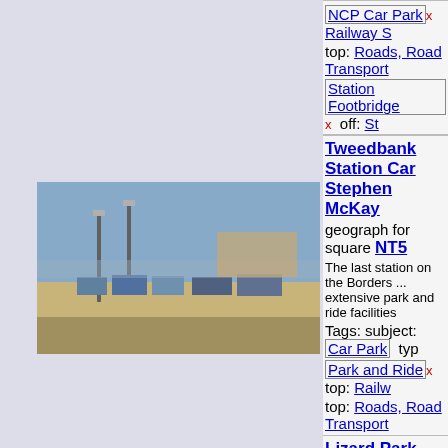NCP Car Park x   Railway S
top: Roads, Road Transport
Station Footbridge x   off: St
Tweedbank Station Car ... by Stephen McKay
geograph for square NT5
The last station on the Borders ... extensive park and ride facilities
Tags: subject: Car Park   typ
[Figure (photo): Photo of Tweedbank Station Car Park, showing parking area with cars and street lights]
Park and Ride x   top: Railw
top: Roads, Road Transport
Lizard Park Car Park as ... by Oliver Dixon
geograph for square NZ4
Marine erosion was underminin... park at Lizard Park which was...
Tags: subject: Car Park   Cl
[Figure (photo): Photo of Lizard Park Car Park area showing coastal marsh/wetland with fence]
Clifftop Car Park x   Former
Former Little Chef Car Park
top: Roads, Road Transport
Angel Lane Car Park M...